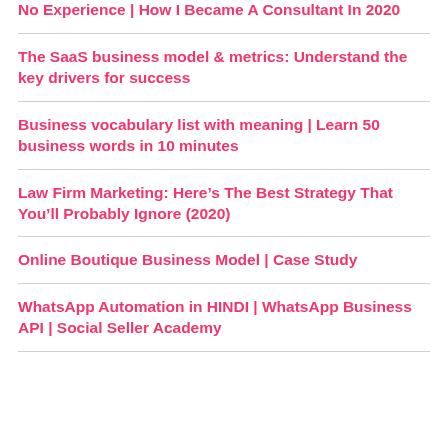No Experience | How I Became A Consultant In 2020
The SaaS business model & metrics: Understand the key drivers for success
Business vocabulary list with meaning | Learn 50 business words in 10 minutes
Law Firm Marketing: Here’s The Best Strategy That You’ll Probably Ignore (2020)
Online Boutique Business Model | Case Study
WhatsApp Automation in HINDI | WhatsApp Business API | Social Seller Academy